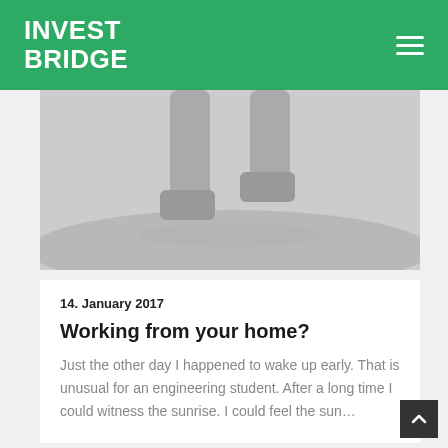INVEST BRIDGE
[Figure (photo): Grayscale hero image showing legs/feet walking, cropped at the top of the content area]
14. January 2017
Working from your home?
Just the other day I happened to wake up early. That is unusual for an engineering student. After a long time I could witness the sunrise. I could feel the sun…